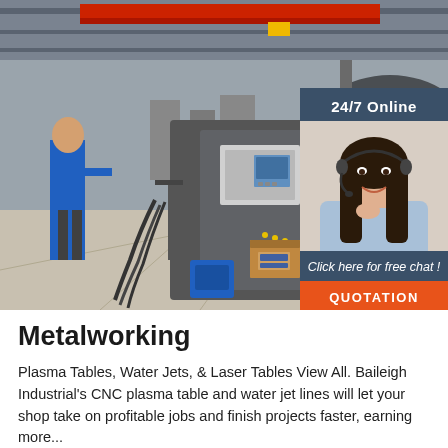[Figure (photo): Industrial metalworking facility showing CNC machines, bending/cutting equipment on a factory floor with workers visible. An overlay box on the right shows a customer service agent (woman with headset) with text '24/7 Online', 'Click here for free chat!', and an orange 'QUOTATION' button.]
Metalworking
Plasma Tables, Water Jets, & Laser Tables View All. Baileigh Industrial's CNC plasma table and water jet lines will let your shop take on profitable jobs and finish projects faster, earning more...